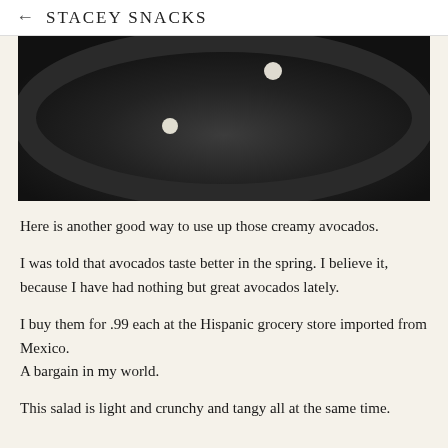← STACEY SNACKS
[Figure (photo): Close-up photo of a dark black plate with a few small white round objects (possibly garlic or small food items) scattered on it, viewed from above]
Here is another good way to use up those creamy avocados.
I was told that avocados taste better in the spring. I believe it, because I have had nothing but great avocados lately.
I buy them for .99 each at the Hispanic grocery store imported from Mexico.
A bargain in my world.
This salad is light and crunchy and tangy all at the same time.